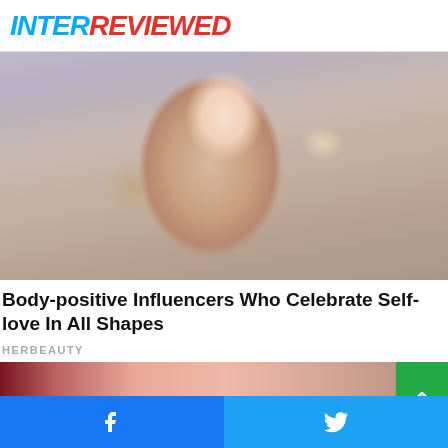INTERREVIEWED
[Figure (photo): A plus-size woman with long blonde highlighted hair wearing a pink/mauve satin sleeveless top, posing with one hand behind her head, styled makeup and earrings, against a light background.]
Body-positive Influencers Who Celebrate Self-love In All Shapes
HERBEAUTY
[Figure (photo): Close-up image of a hand/finger with a green scroll-to-top button overlay in the bottom right corner.]
Facebook share button | Twitter share button